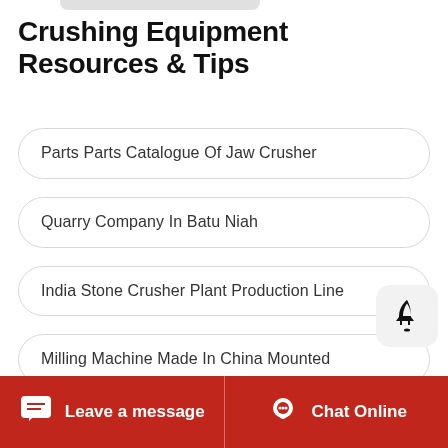Crushing Equipment Resources & Tips
Parts Parts Catalogue Of Jaw Crusher
Quarry Company In Batu Niah
India Stone Crusher Plant Production Line
Milling Machine Made In China Mounted
Gold Gold Mine Protable Crusher Plant
Leave a message   Chat Online